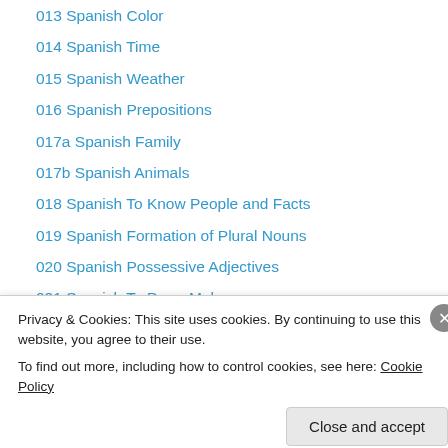013 Spanish Color
014 Spanish Time
015 Spanish Weather
016 Spanish Prepositions
017a Spanish Family
017b Spanish Animals
018 Spanish To Know People and Facts
019 Spanish Formation of Plural Nouns
020 Spanish Possessive Adjectives
021 Spanish To Do or Make
022a Spanish Work
022b Spanish School Subjects
023 Spanish Countries and Nationalities
Privacy & Cookies: This site uses cookies. By continuing to use this website, you agree to their use.
To find out more, including how to control cookies, see here: Cookie Policy